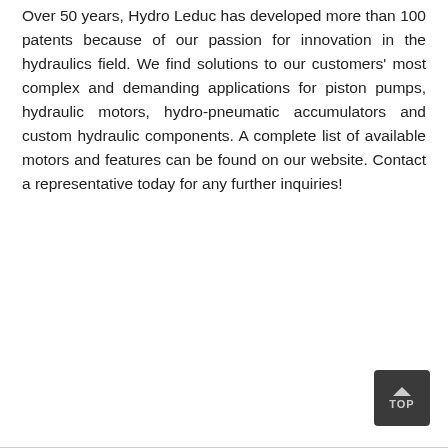Over 50 years, Hydro Leduc has developed more than 100 patents because of our passion for innovation in the hydraulics field. We find solutions to our customers' most complex and demanding applications for piston pumps, hydraulic motors, hydro-pneumatic accumulators and custom hydraulic components. A complete list of available motors and features can be found on our website. Contact a representative today for any further inquiries!